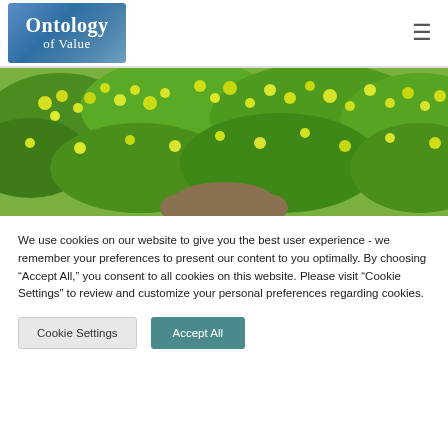[Figure (logo): Ontology of Value logo — blue gradient background with white serif text]
[Figure (photo): A lush green bush with bright yellow flowers, with the top of a person's head visible at the bottom of the image]
We use cookies on our website to give you the best user experience - we remember your preferences to present our content to you optimally. By choosing “Accept All,” you consent to all cookies on this website. Please visit “Cookie Settings” to review and customize your personal preferences regarding cookies.
Cookie Settings
Accept All